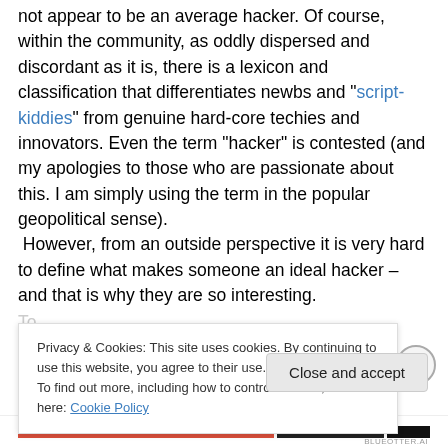not appear to be an average hacker. Of course, within the community, as oddly dispersed and discordant as it is, there is a lexicon and classification that differentiates newbs and "script-kiddies" from genuine hard-core techies and innovators. Even the term "hacker" is contested (and my apologies to those who are passionate about this. I am simply using the term in the popular geopolitical sense).  However, from an outside perspective it is very hard to define what makes someone an ideal hacker – and that is why they are so interesting.
Privacy & Cookies: This site uses cookies. By continuing to use this website, you agree to their use.
To find out more, including how to control cookies, see here: Cookie Policy
Close and accept